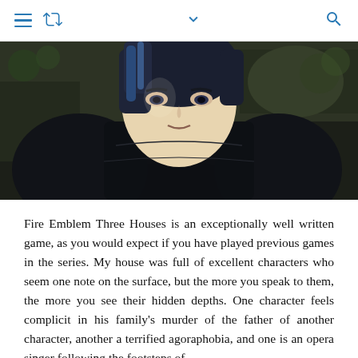[Navigation bar with menu, retweet, chevron, and search icons]
[Figure (illustration): Anime character from Fire Emblem Three Houses — close-up of a male character with blue-black hair wearing dark black armor, set against a rocky outdoor background.]
Fire Emblem Three Houses is an exceptionally well written game, as you would expect if you have played previous games in the series. My house was full of excellent characters who seem one note on the surface, but the more you speak to them, the more you see their hidden depths. One character feels complicit in his family's murder of the father of another character, another a terrified agoraphobia, and one is an opera singer following the footsteps of